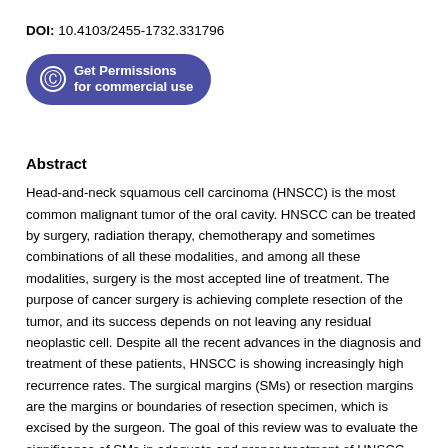DOI: 10.4103/2455-1732.331796
[Figure (other): Blue rounded button with copyright icon reading 'Get Permissions for commercial use']
Abstract
Head-and-neck squamous cell carcinoma (HNSCC) is the most common malignant tumor of the oral cavity. HNSCC can be treated by surgery, radiation therapy, chemotherapy and sometimes combinations of all these modalities, and among all these modalities, surgery is the most accepted line of treatment. The purpose of cancer surgery is achieving complete resection of the tumor, and its success depends on not leaving any residual neoplastic cell. Despite all the recent advances in the diagnosis and treatment of these patients, HNSCC is showing increasingly high recurrence rates. The surgical margins (SMs) or resection margins are the margins or boundaries of resection specimen, which is excised by the surgeon. The goal of this review was to evaluate the significance of SMs in adequate and proper treatment of HNSCC along with minimum recurrence.
Keywords: Frozen section, head-and-neck squamous cell carcinoma, pattern of